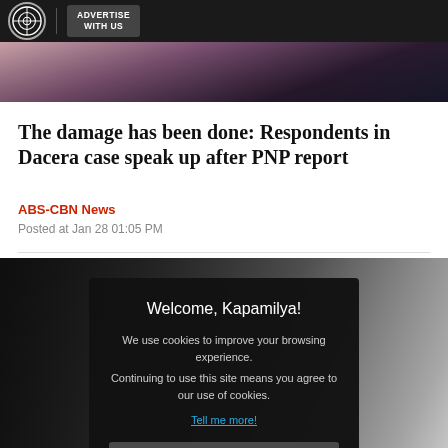ABS-CBN | ADVERTISE WITH US
[Figure (photo): Top photo strip showing a person in a dark background]
The damage has been done: Respondents in Dacera case speak up after PNP report
ABS-CBN News
Posted at Jan 28 01:05 PM
[Figure (photo): Photo of people in a room, partially obscured by a cookie consent popup overlay reading: Welcome, Kapamilya! We use cookies to improve your browsing experience. Continuing to use this site means you agree to our use of cookies. Tell me more! I AGREE!]